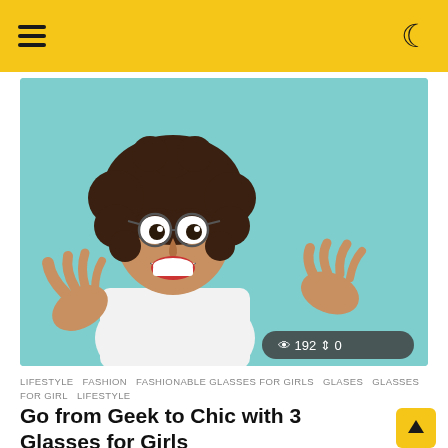≡  ☾
[Figure (photo): Young woman with curly hair and round glasses, wearing white t-shirt, hands raised in excited gesture, against light blue/teal background. Badge overlay shows '192' views and '0' shares.]
LIFESTYLE  FASHION  FASHIONABLE GLASSES FOR GIRLS  GLASES  GLASSES FOR GIRL  LIFESTYLE
Go from Geek to Chic with 3 Glasses for Girls